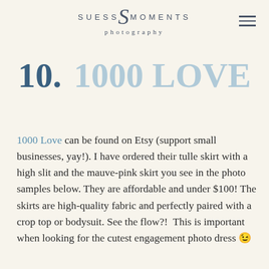SUESS by MOMENTS photography
10. 1000 LOVE
1000 Love can be found on Etsy (support small businesses, yay!). I have ordered their tulle skirt with a high slit and the mauve-pink skirt you see in the photo samples below. They are affordable and under $100! The skirts are high-quality fabric and perfectly paired with a crop top or bodysuit. See the flow?!  This is important when looking for the cutest engagement photo dress 😉